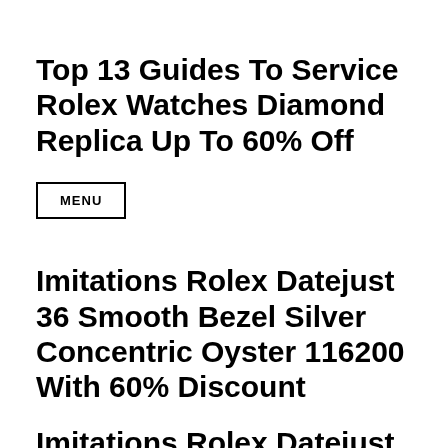Top 13 Guides To Service Rolex Watches Diamond Replica Up To 60% Off
MENU
Imitations Rolex Datejust 36 Smooth Bezel Silver Concentric Oyster 116200 With 60% Discount
Imitations Rolex Datejust